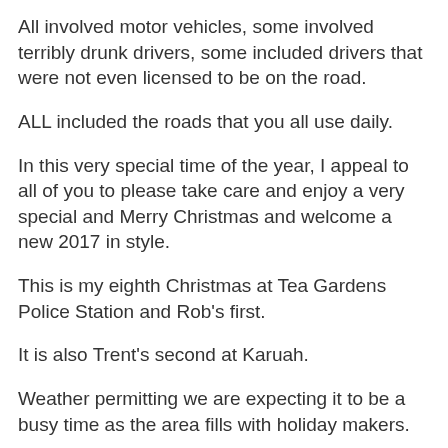All involved motor vehicles, some involved terribly drunk drivers, some included drivers that were not even licensed to be on the road.
ALL included the roads that you all use daily.
In this very special time of the year, I appeal to all of you to please take care and enjoy a very special and Merry Christmas and welcome a new 2017 in style.
This is my eighth Christmas at Tea Gardens Police Station and Rob's first.
It is also Trent's second at Karuah.
Weather permitting we are expecting it to be a busy time as the area fills with holiday makers.